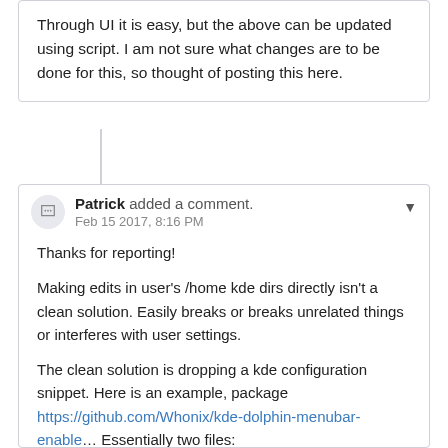Through UI it is easy, but the above can be updated using script. I am not sure what changes are to be done for this, so thought of posting this here.
Patrick added a comment. Feb 15 2017, 8:16 PM
Thanks for reporting!
Making edits in user's /home kde dirs directly isn't a clean solution. Easily breaks or breaks unrelated things or interferes with user settings.
The clean solution is dropping a kde configuration snippet. Here is an example, package https://github.com/Whonix/kde-dolphin-menubar-enable... Essentially two files:
config file: https://github.com/Whonix/kde-dolphin-menubar-enable/blob/master/usr/share/kde-dolphin-menubar-enable/share/config/dolphinrc
environment variable: https://github.com/Whonix/kde-dolphin-menubar-enable/blob/master/etc/X11/Xsession.d/50kde-